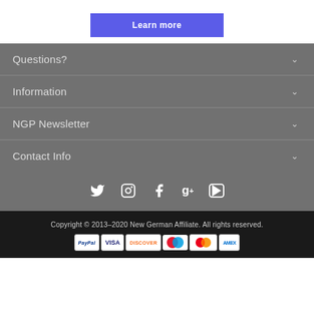[Figure (other): Blue 'Learn more' button]
Questions?
Information
NGP Newsletter
Contact Info
[Figure (other): Social media icons: Twitter, Instagram, Facebook, Google+, YouTube]
Copyright © 2013–2020 New German Affiliate. All rights reserved.
[Figure (other): Payment icons: PayPal, VISA, DISCOVER, Maestro, MasterCard, AMEX]